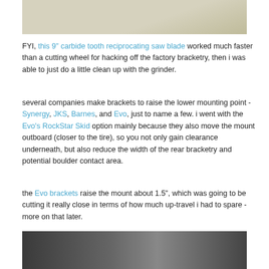[Figure (photo): Top portion of a photo showing a light-colored concrete or painted surface, partially cropped]
FYI, this 9" carbide tooth reciprocating saw blade worked much faster than a cutting wheel for hacking off the factory bracketry, then i was able to just do a little clean up with the grinder.
several companies make brackets to raise the lower mounting point - Synergy, JKS, Barnes, and Evo, just to name a few. i went with the Evo's RockStar Skid option mainly because they also move the mount outboard (closer to the tire), so you not only gain clearance underneath, but also reduce the width of the rear bracketry and potential boulder contact area.
the Evo brackets raise the mount about 1.5", which was going to be cutting it really close in terms of how much up-travel i had to spare - more on that later.
[Figure (photo): Bottom portion showing a dark photo of what appears to be vehicle undercarriage or suspension components]